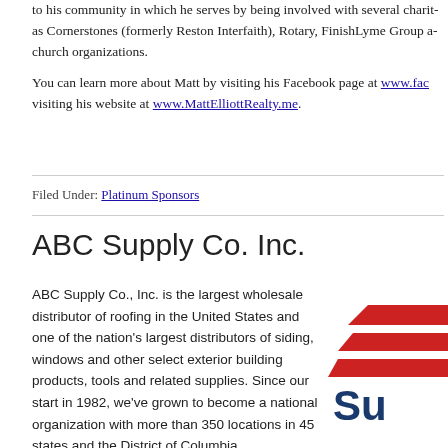to his community in which he serves by being involved with several charitables as Cornerstones (formerly Reston Interfaith), Rotary, FinishLyme Group and church organizations.
You can learn more about Matt by visiting his Facebook page at www.fac... visiting his website at www.MattElliottRealty.me.
Filed Under: Platinum Sponsors
ABC Supply Co. Inc.
ABC Supply Co., Inc. is the largest wholesale distributor of roofing in the United States and one of the nation's largest distributors of siding, windows and other select exterior building products, tools and related supplies. Since our start in 1982, we've grown to become a national organization with more than 350 locations in 45 states and the District of Columbia.
[Figure (logo): ABC Supply Co. Inc. logo — red and blue diagonal stripes with 'Su' text visible, corporate logo]
Our success is the result of an unwavering focus on a single, simple guiding principle – treat contractors (large and small) with respect and services they need to build their businesses. The customer always...